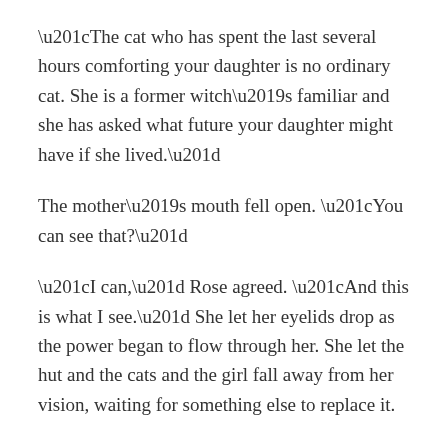“The cat who has spent the last several hours comforting your daughter is no ordinary cat. She is a former witch’s familiar and she has asked what future your daughter might have if she lived.”
The mother’s mouth fell open. “You can see that?”
“I can,” Rose agreed. “And this is what I see.” She let her eyelids drop as the power began to flow through her. She let the hut and the cats and the girl fall away from her vision, waiting for something else to replace it.
“I see a woman,” she said softly as the vision formed from the haze. “I see a road beneath her feet. A long road which moves through many cities, towns and